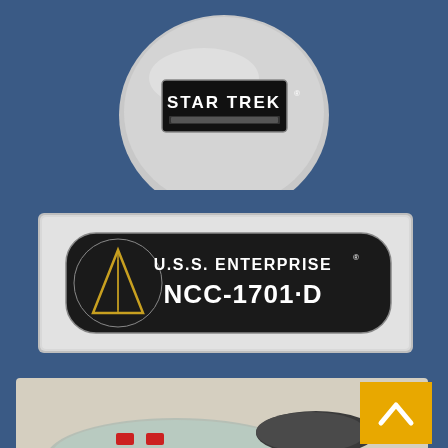[Figure (photo): A circular silver Star Trek button/pin with black rectangular badge bearing 'STAR TREK®' text in white on black background, photographed against a steel blue background]
[Figure (photo): A rectangular silver/white Star Trek badge pin showing the Starfleet delta insignia in gold on black circle, with 'U.S.S. ENTERPRISE® NCC-1701-D' text in white on black background, photographed against a steel blue background]
[Figure (photo): Bottom portion of a Star Trek USS Enterprise NCC-1701-D model/toy ship photographed against a light background, showing the saucer section and nacelles with red and white markings. An orange/yellow scroll-to-top button is overlaid in the bottom right corner.]